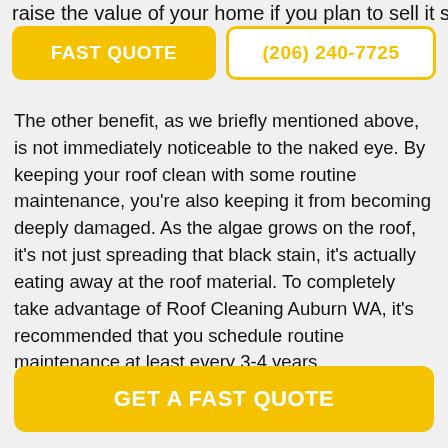raise the value of your home if you plan to sell it some
FAST QUOTE
(206) 240-7725
The other benefit, as we briefly mentioned above, is not immediately noticeable to the naked eye. By keeping your roof clean with some routine maintenance, you're also keeping it from becoming deeply damaged. As the algae grows on the roof, it's not just spreading that black stain, it's actually eating away at the roof material. To completely take advantage of Roof Cleaning Auburn WA, it's recommended that you schedule routine maintenance at least every 3-4 years.
GET A FAST QUOTE